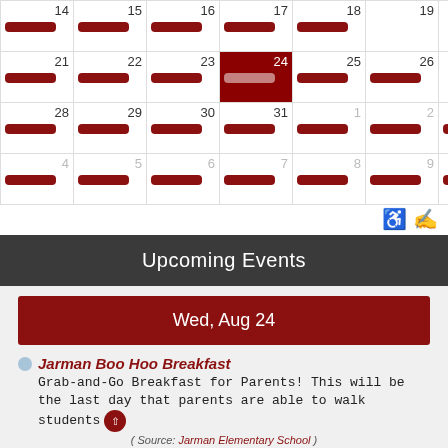[Figure (other): Monthly calendar grid showing dates 14-10 across multiple weeks, with red pill-shaped event bars in cells, date 24 highlighted in dark red as today]
Upcoming Events
Wed, Aug 24
Jarman Boo Hoo Breakfast
Grab-and-Go Breakfast for Parents! This will be the last day that parents are able to walk students
(Source: Jarman Elementary School)
RR Daily Rehearsal
7:00 am - 8:15 am